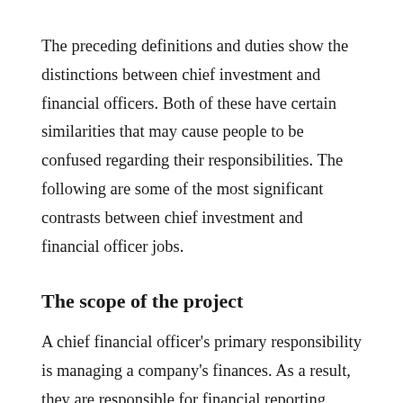The preceding definitions and duties show the distinctions between chief investment and financial officers. Both of these have certain similarities that may cause people to be confused regarding their responsibilities. The following are some of the most significant contrasts between chief investment and financial officer jobs.
The scope of the project
A chief financial officer's primary responsibility is managing a company's finances. As a result, they are responsible for financial reporting, budgeting,